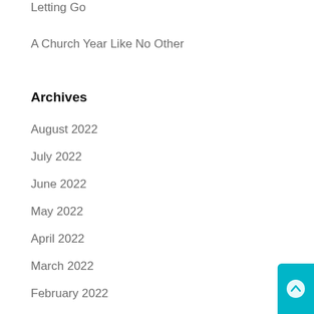Letting Go
A Church Year Like No Other
Archives
August 2022
July 2022
June 2022
May 2022
April 2022
March 2022
February 2022
January 2022
December 2021
November 2021